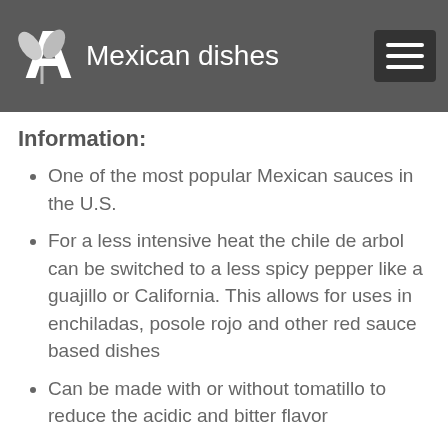added on to tacos, tortas, and other Mexican dishes
Information:
One of the most popular Mexican sauces in the U.S.
For a less intensive heat the chile de arbol can be switched to a less spicy pepper like a guajillo or California. This allows for uses in enchiladas, posole rojo and other red sauce based dishes
Can be made with or without tomatillo to reduce the acidic and bitter flavor